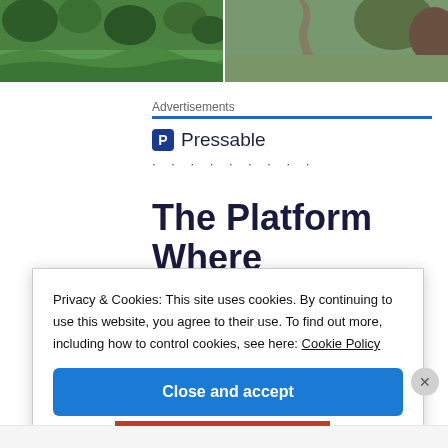[Figure (photo): Two side-by-side nature photos showing green terraced hillside with trees on the left, and a dirt path through greenery on the right]
Advertisements
[Figure (logo): Pressable logo with shield P icon and name 'Pressable', followed by dotted line]
The Platform Where WordPress
Privacy & Cookies: This site uses cookies. By continuing to use this website, you agree to their use. To find out more, including how to control cookies, see here: Cookie Policy
Close and accept